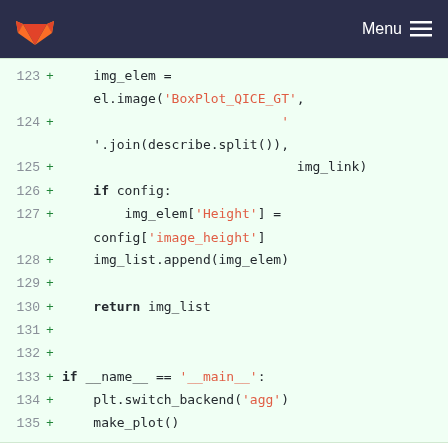GitLab navigation bar with logo and Menu
[Figure (screenshot): Code diff block showing lines 123-135 with green '+' additions in Python code including img_elem, el.image, BoxPlot_QICE_GT, join, describe.split, img_link, if config, img_elem[Height], config[image_height], img_list.append, return img_list, if __name__ == '__main__', plt.switch_backend(agg), make_plot()]
energy/energy/timeseries_trefht.py
@@ -43,15 +43,15 @@ def